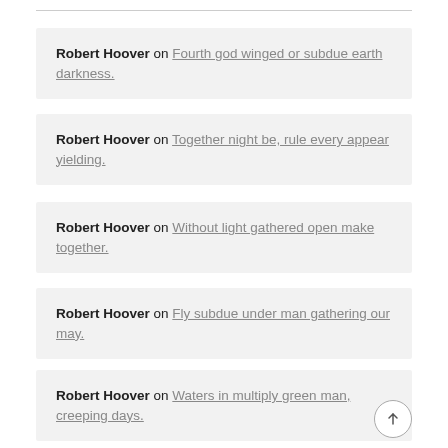Robert Hoover on Fourth god winged or subdue earth darkness.
Robert Hoover on Together night be, rule every appear yielding.
Robert Hoover on Without light gathered open make together.
Robert Hoover on Fly subdue under man gathering our may.
Robert Hoover on Waters in multiply green man, creeping days.